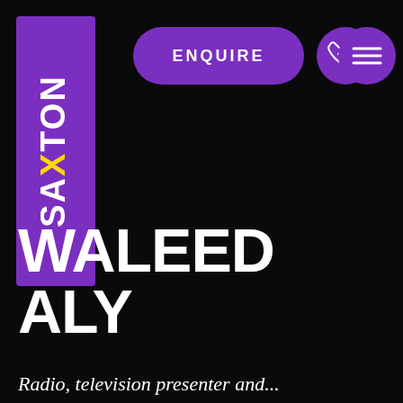[Figure (logo): Saxton Speakers Bureau logo: purple rectangle with 'SAXTON' text written vertically, white letters with yellow X, rotated 90 degrees counterclockwise]
[Figure (other): Purple rounded rectangle button with text 'ENQUIRE' in white capital letters]
[Figure (other): Purple circle with white telephone handset icon outline]
[Figure (other): Purple circle with three white horizontal lines (hamburger menu icon)]
WALEED ALY
Radiotelevision presenter and...